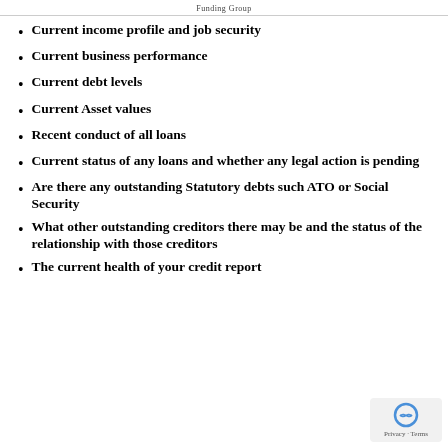Funding Group
Current income profile and job security
Current business performance
Current debt levels
Current Asset values
Recent conduct of all loans
Current status of any loans and whether any legal action is pending
Are there any outstanding Statutory debts such ATO or Social Security
What other outstanding creditors there may be and the status of the relationship with those creditors
The current health of your credit report